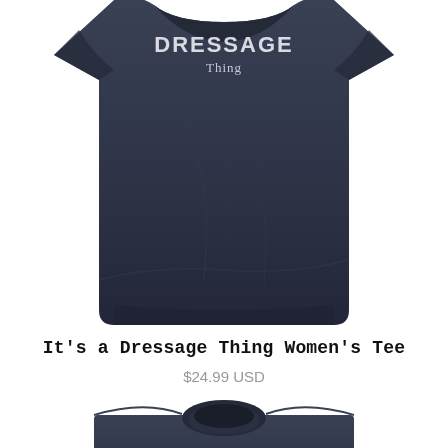[Figure (photo): Navy blue women's fitted t-shirt laid flat, with white text on the chest reading 'It's a DRESSAGE Thing'. The shirt is dark navy/charcoal color photographed against a white background.]
It's a Dressage Thing Women's Tee
$24.99 USD
[Figure (photo): Partial view of a second navy blue t-shirt, showing only the collar/neckline and shoulders area, cropped at the bottom of the page.]